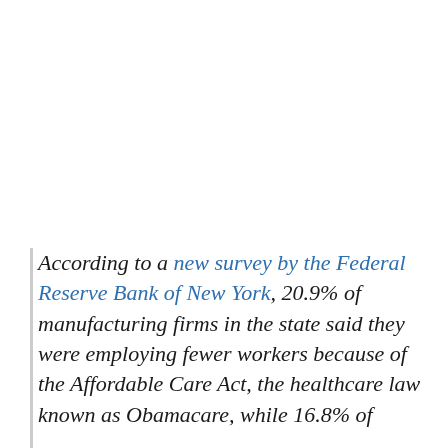According to a new survey by the Federal Reserve Bank of New York, 20.9% of manufacturing firms in the state said they were employing fewer workers because of the Affordable Care Act, the healthcare law known as Obamacare, while 16.8% of